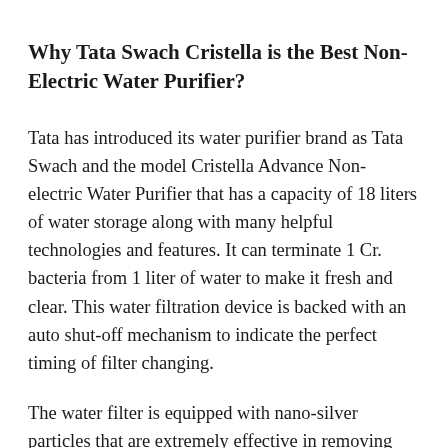Why Tata Swach Cristella is the Best Non-Electric Water Purifier?
Tata has introduced its water purifier brand as Tata Swach and the model Cristella Advance Non-electric Water Purifier that has a capacity of 18 liters of water storage along with many helpful technologies and features. It can terminate 1 Cr. bacteria from 1 liter of water to make it fresh and clear. This water filtration device is backed with an auto shut-off mechanism to indicate the perfect timing of filter changing.
The water filter is equipped with nano-silver particles that are extremely effective in removing germs and